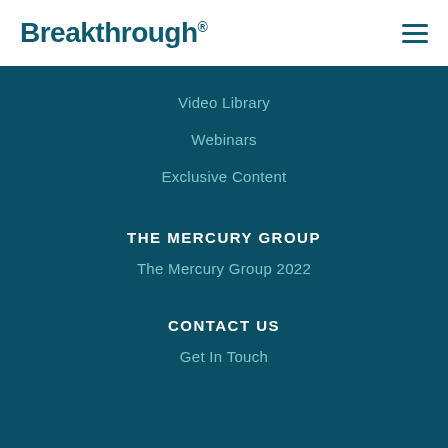Breakthrough.
Video Library
Webinars
Exclusive Content
THE MERCURY GROUP
The Mercury Group 2022
CONTACT US
Get In Touch